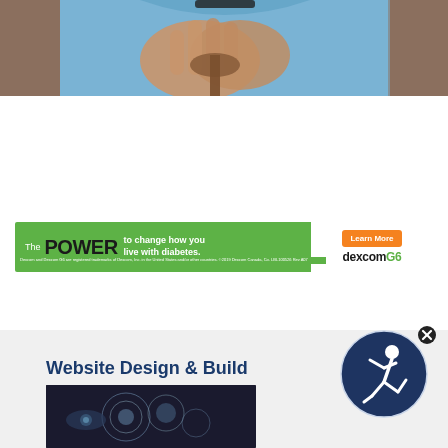[Figure (photo): Elderly person in blue shirt with hands clasped over a cane, partial photo showing hands and torso]
[Figure (infographic): Dexcom G6 advertisement banner with green background. Text: 'The POWER to change how you live with diabetes.' Learn More button and Dexcom G6 logo on white panel.]
Dexcom and Dexcom G6 are registered trademarks of Dexcom, Inc. in the United States and/or other countries. ©2019 Dexcom Canada, Co. LBL100526 Rev A07
[Figure (logo): Dark navy blue circular logo with white figure/person icon]
Website Design & Build
[Figure (photo): Abstract technology/digital photo with dark tones and circular light elements]